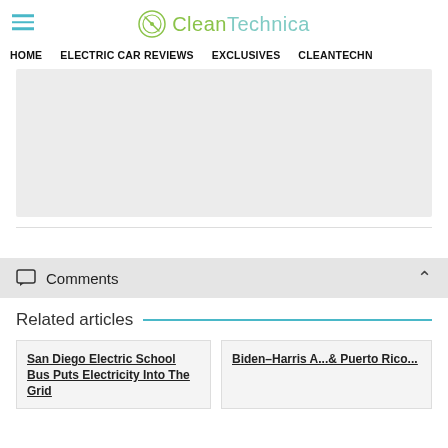CleanTechnica
HOME   ELECTRIC CAR REVIEWS   EXCLUSIVES   CLEANTECHN...
[Figure (other): Advertisement placeholder block, light gray background]
Comments
Related articles
San Diego Electric School Bus Puts Electricity Into The Grid
Biden–Harris A... & Puerto Rico...